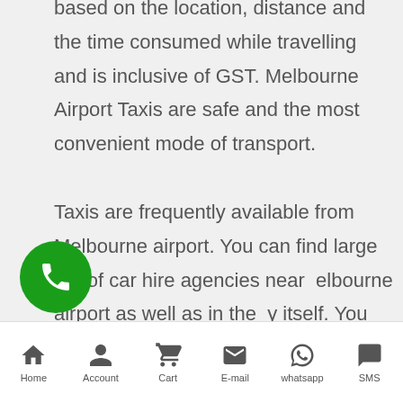based on the location, distance and the time consumed while travelling and is inclusive of GST. Melbourne Airport Taxis are safe and the most convenient mode of transport.

Taxis are frequently available from Melbourne airport. You can find large no. of car hire agencies near Melbourne airport as well as in the city itself. You can also plan for long trips by hired taxi service in Melbourne. Taxis are ranked in
[Figure (illustration): Green circular phone call button floating on left side of screen]
Home  Account  Cart  E-mail  whatsapp  SMS